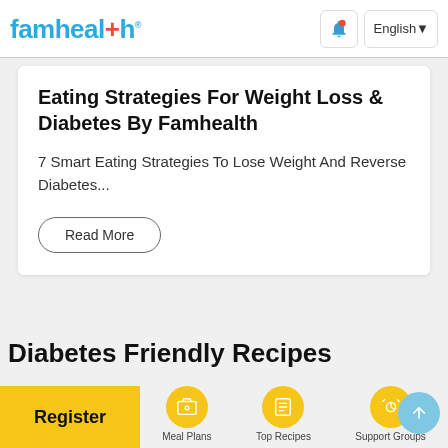famhealth
Eating Strategies For Weight Loss & Diabetes By Famhealth
7 Smart Eating Strategies To Lose Weight And Reverse Diabetes...
Read More
Diabetes Friendly Recipes
Register
Meal Plans  Top Recipes  Support Groups